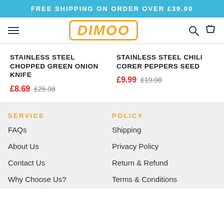FREE SHIPPING ON ORDER OVER £39.99
[Figure (logo): DIMOO logo in orange with rounded rectangle border, italic bold font]
STAINLESS STEEL CHOPPED GREEN ONION KNIFE £8.69 £25.98
STAINLESS STEEL CHILI CORER PEPPERS SEED £9.99 £19.98
SERVICE
POLICY
FAQs
Shipping
About Us
Privacy Policy
Contact Us
Return & Refund
Why Choose Us?
Terms & Conditions